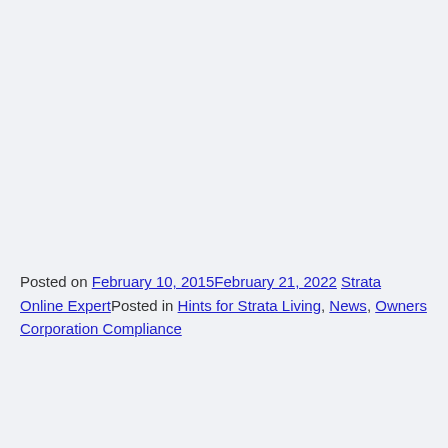Posted on February 10, 2015February 21, 2022 Strata Online ExpertPosted in Hints for Strata Living, News, Owners Corporation Compliance